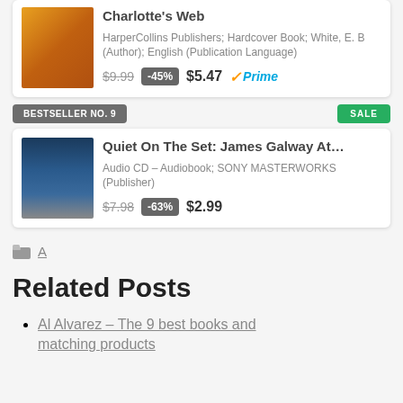[Figure (other): Product card for Charlotte's Web showing book cover image, publisher info, original price $9.99, -45% discount badge, sale price $5.47, and Prime logo]
BESTSELLER NO. 9
SALE
[Figure (other): Product card for Quiet On The Set: James Galway At... showing album cover, Audio CD Audiobook; SONY MASTERWORKS (Publisher), original price $7.98, -63% discount badge, sale price $2.99]
A
Related Posts
Al Alvarez – The 9 best books and matching products